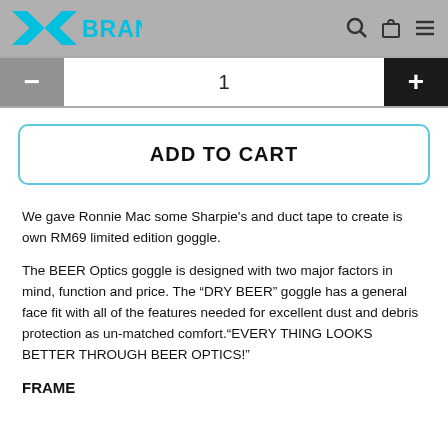X BRAND
1
ADD TO CART
We gave Ronnie Mac some Sharpie's and duct tape to create is own RM69 limited edition goggle.
The BEER Optics goggle is designed with two major factors in mind, function and price. The “DRY BEER” goggle has a general face fit with all of the features needed for excellent dust and debris protection as un-matched comfort.“EVERY THING LOOKS BETTER THROUGH BEER OPTICS!”
FRAME